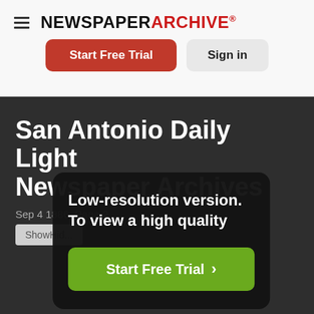NEWSPAPER ARCHIVE®
Start Free Trial
Sign in
San Antonio Daily Light Newspaper Archives
Sep 4 1886, Page 2
ShowHid...
Low-resolution version.
To view a high quality
Start Free Trial